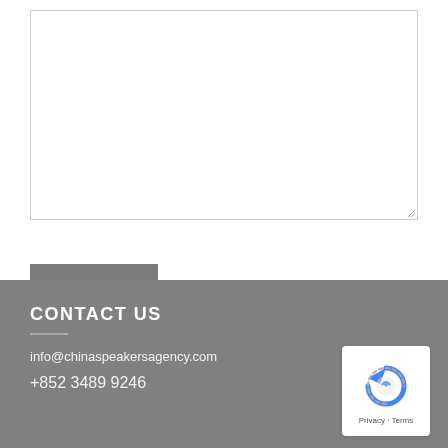[Figure (other): Empty textarea input box with resize handle in bottom-right corner]
SEND
CONTACT US
info@chinaspeakersagency.com
+852 3489 9246
[Figure (other): Google reCAPTCHA badge with circular arrow logo and Privacy · Terms text]